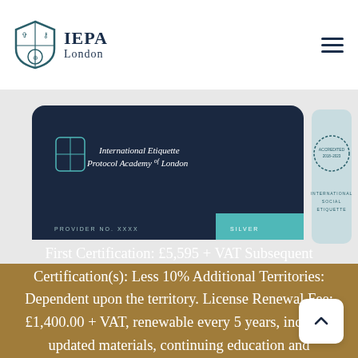IEPA London
[Figure (photo): IEPA London certification card - International Etiquette Protocol Academy of London, silver level, provider no. XXXX. And an International Social Etiquette accreditation badge.]
First Certification: £5,595 + VAT Subsequent Certification(s): Less 10% Additional Territories: Dependent upon the territory. License Renewal Fee: £1,400.00 + VAT, renewable every 5 years, includes updated materials, continuing education and ongoing personal support.